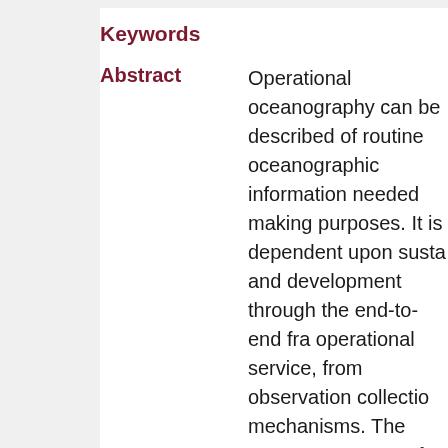Keywords
Abstract  Operational oceanography can be described of routine oceanographic information needed making purposes. It is dependent upon susta and development through the end-to-end fra operational service, from observation collectio mechanisms. The core components of operat oceanographic systems are a multi-platform o network, a data management system, a data prediction system, and a dissemination/acces These are interdependent, necessitating com exchange between them, and together provid mechanism through which a clear picture of c in the past, present, and future, can be seen. observations play a critical role in all aspects